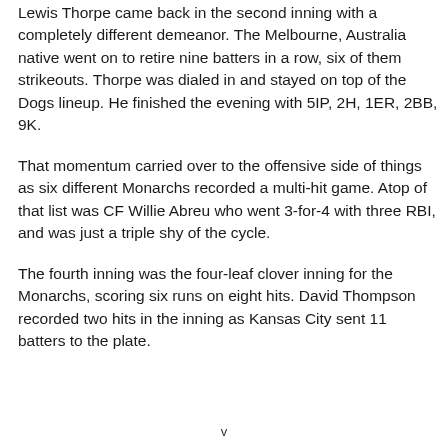Lewis Thorpe came back in the second inning with a completely different demeanor. The Melbourne, Australia native went on to retire nine batters in a row, six of them strikeouts. Thorpe was dialed in and stayed on top of the Dogs lineup. He finished the evening with 5IP, 2H, 1ER, 2BB, 9K.
That momentum carried over to the offensive side of things as six different Monarchs recorded a multi-hit game. Atop of that list was CF Willie Abreu who went 3-for-4 with three RBI, and was just a triple shy of the cycle.
The fourth inning was the four-leaf clover inning for the Monarchs, scoring six runs on eight hits. David Thompson recorded two hits in the inning as Kansas City sent 11 batters to the plate.
v